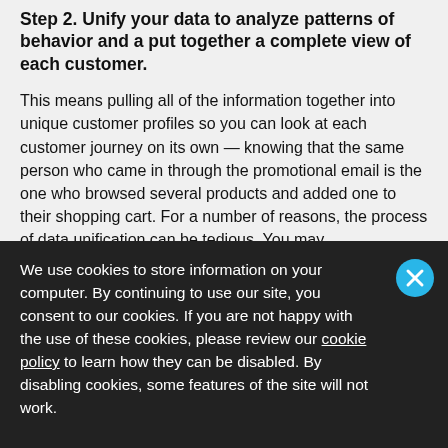Step 2. Unify your data to analyze patterns of behavior and a put together a complete view of each customer.
This means pulling all of the information together into unique customer profiles so you can look at each customer journey on its own — knowing that the same person who came in through the promotional email is the one who browsed several products and added one to their shopping cart. For a number of reasons, the process of data unification can be tedious. You may
We use cookies to store information on your computer. By continuing to use our site, you consent to our cookies. If you are not happy with the use of these cookies, please review our cookie policy to learn how they can be disabled. By disabling cookies, some features of the site will not work.